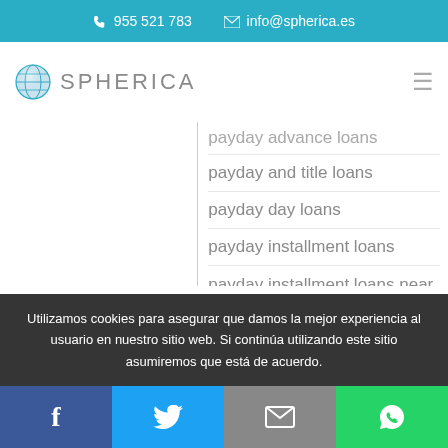955 521 783   info@spherica.es
[Figure (logo): Spherica logo with globe icon and text SPHERICA]
payday advance loans
payday and title loans
payday day loans
payday installment loans
payday installment loans near me
payday loan
payday loan app
Utilizamos cookies para asegurar que damos la mejor experiencia al usuario en nuestro sitio web. Si continúa utilizando este sitio asumiremos que está de acuerdo.
Facebook  Twitter  Email  WhatsApp